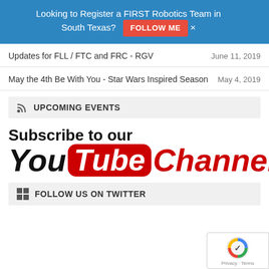Looking to Register a FIRST Robotics Team in South Texas? FOLLOW ME ×
Updates for FLL / FTC and FRC - RGV  June 11, 2019
May the 4th Be With You - Star Wars Inspired Season  May 4, 2019
UPCOMING EVENTS
[Figure (logo): Subscribe to our YouTube Channel logo/banner]
FOLLOW US ON TWITTER